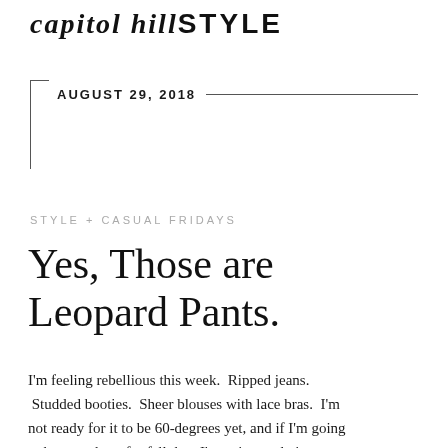capitol hill STYLE
AUGUST 29, 2018
STYLE + CASUAL FRIDAYS
Yes, Those are Leopard Pants.
I'm feeling rebellious this week.  Ripped jeans.  Studded booties.  Sheer blouses with lace bras.  I'm not ready for it to be 60-degrees yet, and if I'm going to have to dress for fall then I'm going to do it...